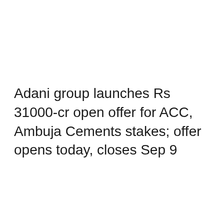Adani group launches Rs 31000-cr open offer for ACC, Ambuja Cements stakes; offer opens today, closes Sep 9